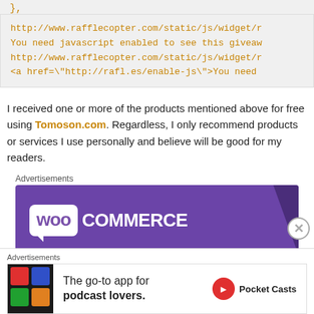},
http://www.rafflecopter.com/static/js/widget/r
You need javascript enabled to see this giveaw
http://www.rafflecopter.com/static/js/widget/r
<a href="http://rafl.es/enable-js">You need
I received one or more of the products mentioned above for free using Tomoson.com. Regardless, I only recommend products or services I use personally and believe will be good for my readers.
Advertisements
[Figure (logo): WooCommerce advertisement banner with purple background and white WooCommerce logo]
Advertisements
[Figure (infographic): Pocket Casts advertisement: The go-to app for podcast lovers.]